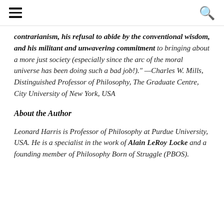[hamburger menu] [search icon]
contrarianism, his refusal to abide by the conventional wisdom, and his militant and unwavering commitment to bringing about a more just society (especially since the arc of the moral universe has been doing such a bad job!)." —Charles W. Mills, Distinguished Professor of Philosophy, The Graduate Centre, City University of New York, USA
About the Author
Leonard Harris is Professor of Philosophy at Purdue University, USA. He is a specialist in the work of Alain LeRoy Locke and a founding member of Philosophy Born of Struggle (PBOS).